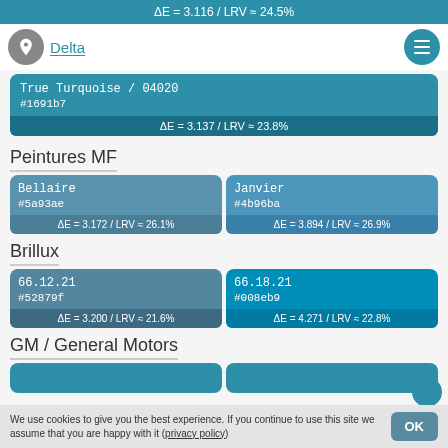ΔE = 3.116 / LRV ≈ 24.5%
Delta
True Turquoise / 04020
#1691b7
ΔE = 3.137 / LRV ≈ 23.8%
Peintures MF
Bellaire
#5a93ae
ΔE = 3.172 / LRV ≈ 26.1%
Janvier
#4b96ba
ΔE = 3.894 / LRV ≈ 26.9%
Brillux
66.12.21
#52879f
ΔE = 3.200 / LRV ≈ 21.6%
66.18.21
#008eb9
ΔE = 4.271 / LRV ≈ 22.8%
GM / General Motors
We use cookies to give you the best experience. If you continue to use this site we assume that you are happy with it (privacy policy)